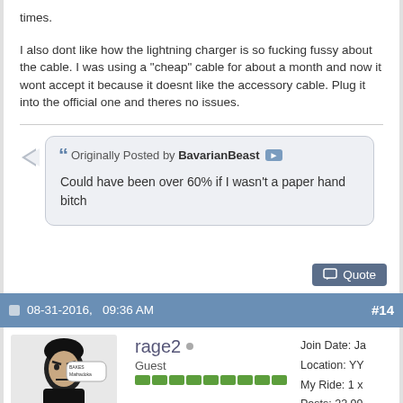times.
I also dont like how the lightning charger is so fucking fussy about the cable. I was using a "cheap" cable for about a month and now it wont accept it because it doesnt like the accessory cable. Plug it into the official one and theres no issues.
Originally Posted by BavarianBeast

Could have been over 60% if I wasn't a paper hand bitch
Quote
08-31-2016,   09:36 AM
#14
rage2
Guest
Join Date: Ja
Location: YY
My Ride: 1 x
Posts: 22,99
Rep Power: :